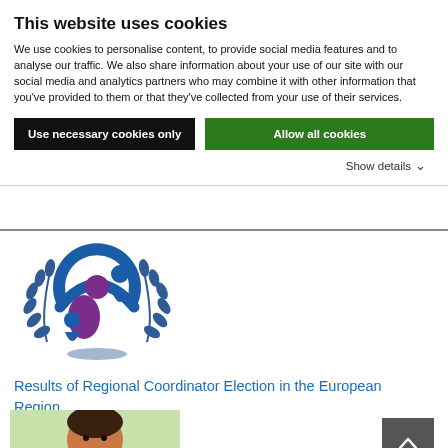This website uses cookies
We use cookies to personalise content, to provide social media features and to analyse our traffic. We also share information about your use of our site with our social media and analytics partners who may combine it with other information that you've provided to them or that they've collected from your use of their services.
Use necessary cookies only
Allow all cookies
Show details
[Figure (logo): Organization logo with blue and purple interlocking figures surrounded by olive/laurel branches]
Results of Regional Coordinator Election in the European Region
[Figure (photo): Photo of a smiling man with dark beard]
[Figure (other): Back to top button with upward chevron arrow on dark grey background]